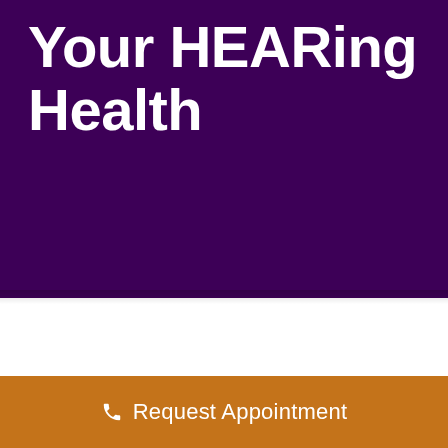Your HEARing Health
Request Appointment